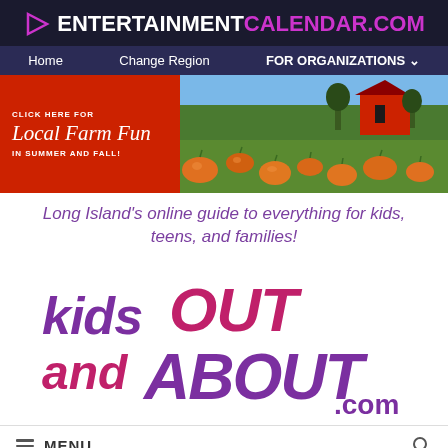ENTERTAINMENTCALENDAR.COM
Home  Change Region  FOR ORGANIZATIONS
[Figure (photo): Banner advertisement for Local Farm Fun with pumpkin field photo on right and red background with text on left]
Long Island's online guide to everything for kids, teens, and families!
[Figure (logo): Kids Out and About .com logo in purple and pink bubbly lettering]
MENU
Virtual Summer Camps